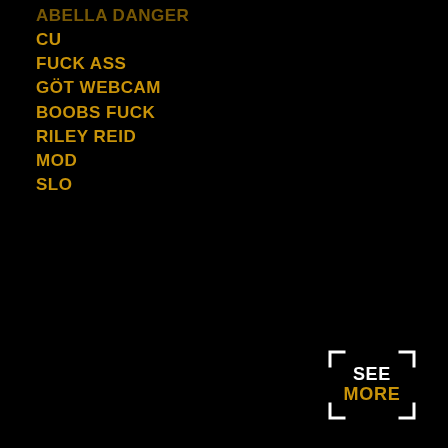ABELLA DANGER
CU
FUCK ASS
GÖT WEBCAM
BOOBS FUCK
RILEY REID
MOD
SLO
[Figure (other): SEE MORE button with bracket/viewfinder frame in bottom-right corner, white text SEE and gold text MORE]